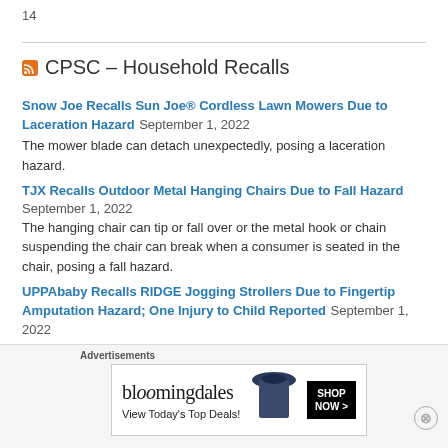14
CPSC – Household Recalls
Snow Joe Recalls Sun Joe® Cordless Lawn Mowers Due to Laceration Hazard September 1, 2022
The mower blade can detach unexpectedly, posing a laceration hazard.
TJX Recalls Outdoor Metal Hanging Chairs Due to Fall Hazard September 1, 2022
The hanging chair can tip or fall over or the metal hook or chain suspending the chair can break when a consumer is seated in the chair, posing a fall hazard.
UPPAbaby Recalls RIDGE Jogging Strollers Due to Fingertip Amputation Hazard; One Injury to Child Reported September 1, 2022
The stroller's rear disc brakes have openings that can cause amputation
Advertisements
[Figure (illustration): Bloomingdales advertisement banner with logo, 'View Today's Top Deals!' text, model with hat, and SHOP NOW button]